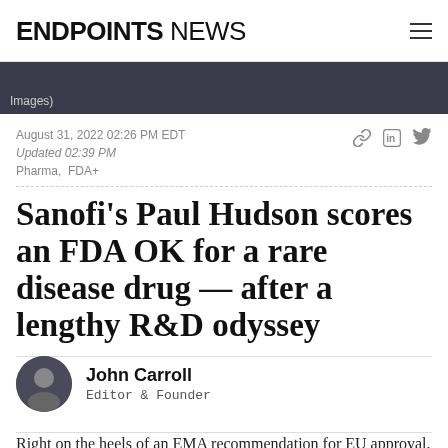ENDPOINTS NEWS
[Figure (photo): Partial image strip with caption text 'Images)']
August 31, 2022 02:26 PM EDT
Updated 02:39 PM
Pharma, FDA+
Sanofi's Paul Hudson scores an FDA OK for a rare disease drug — after a lengthy R&D odyssey
John Carroll
Editor & Founder
Right on the heels of an EMA recommendation for EU approval, Sanofi has scooped up the